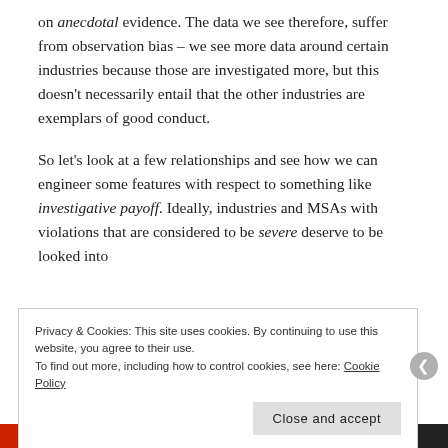on anecdotal evidence. The data we see therefore, suffer from observation bias – we see more data around certain industries because those are investigated more, but this doesn't necessarily entail that the other industries are exemplars of good conduct.
So let's look at a few relationships and see how we can engineer some features with respect to something like investigative payoff. Ideally, industries and MSAs with violations that are considered to be severe deserve to be looked into
Privacy & Cookies: This site uses cookies. By continuing to use this website, you agree to their use.
To find out more, including how to control cookies, see here: Cookie Policy
Close and accept